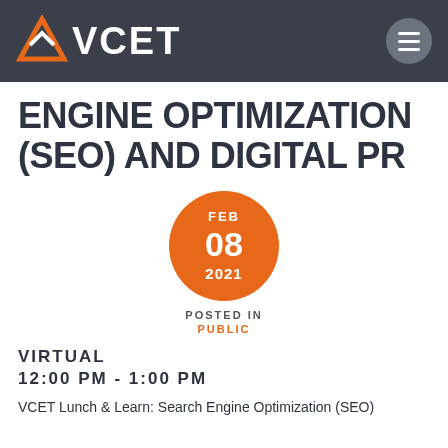VCET
ENGINE OPTIMIZATION (SEO) AND DIGITAL PR
[Figure (other): Orange circle date badge showing FEB 08 2021]
POSTED IN
PUBLIC
VIRTUAL
12:00 PM - 1:00 PM
VCET Lunch & Learn: Search Engine Optimization (SEO)